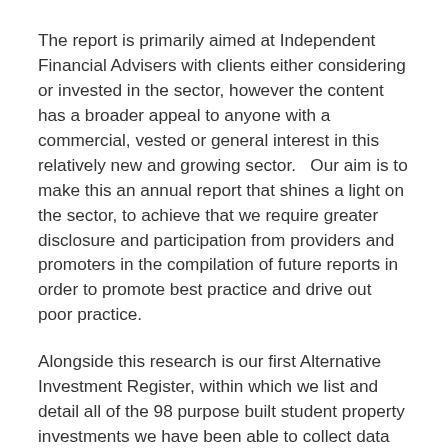The report is primarily aimed at Independent Financial Advisers with clients either considering or invested in the sector, however the content has a broader appeal to anyone with a commercial, vested or general interest in this relatively new and growing sector.   Our aim is to make this an annual report that shines a light on the sector, to achieve that we require greater disclosure and participation from providers and promoters in the compilation of future reports in order to promote best practice and drive out poor practice.
Alongside this research is our first Alternative Investment Register, within which we list and detail all of the 98 purpose built student property investments we have been able to collect data for.  Registered subscribers of Intelligent Partnership can access a complimentary copy of the report here and claim CPD towards their member scheme; other interested parties can purchase a